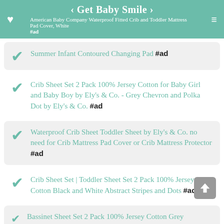American Baby Company Waterproof Fitted Crib and Toddler Mattress Pad Cover, White #ad | < Get Baby Smile >
Summer Infant Contoured Changing Pad #ad
Crib Sheet Set 2 Pack 100% Jersey Cotton for Baby Girl and Baby Boy by Ely's & Co. - Grey Chevron and Polka Dot by Ely's & Co. #ad
Waterproof Crib Sheet Toddler Sheet by Ely's & Co. no need for Crib Mattress Pad Cover or Crib Mattress Protector #ad
Crib Sheet Set | Toddler Sheet Set 2 Pack 100% Jersey Cotton Black and White Abstract Stripes and Dots #ad
Bassinet Sheet Set 2 Pack 100% Jersey Cotton Grey